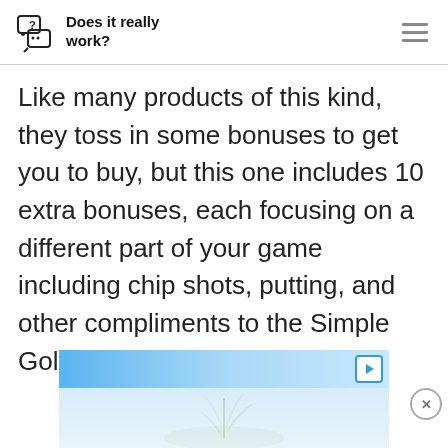Does it really work?
Like many products of this kind, they toss in some bonuses to get you to buy, but this one includes 10 extra bonuses, each focusing on a different part of your game including chip shots, putting, and other compliments to the Simple Golf Swing system.
[Figure (other): Advertisement banner with blue gradient top bar containing a play/ad icon, and light blue bottom section with plant/nature imagery.]